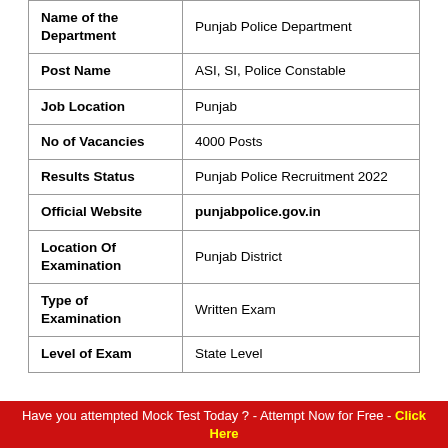| Field | Value |
| --- | --- |
| Name of the Department | Punjab Police Department |
| Post Name | ASI, SI, Police Constable |
| Job Location | Punjab |
| No of Vacancies | 4000 Posts |
| Results Status | Punjab Police Recruitment 2022 |
| Official Website | punjabpolice.gov.in |
| Location Of Examination | Punjab District |
| Type of Examination | Written Exam |
| Level of Exam | State Level |
Have you attempted Mock Test Today ? - Attempt Now for Free - Click Here